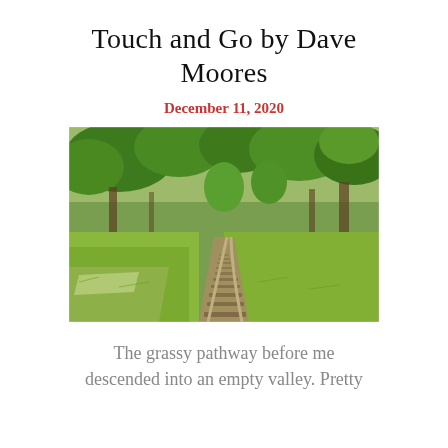Touch and Go by Dave Moores
December 11, 2020
[Figure (photo): A rural railway track curving through lush green trees and grassy surroundings, viewed from ground level in perspective.]
The grassy pathway before me descended into an empty valley. Pretty